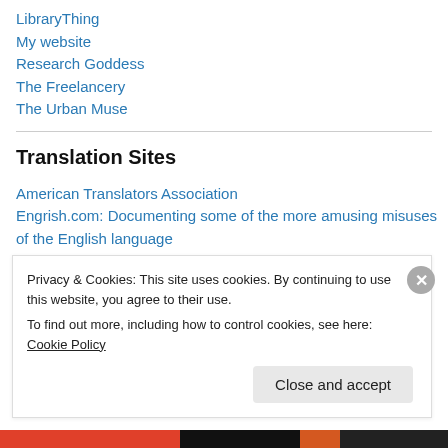LibraryThing
My website
Research Goddess
The Freelancery
The Urban Muse
Translation Sites
American Translators Association
Engrish.com: Documenting some of the more amusing misuses of the English language
German Language Division web site
Privacy & Cookies: This site uses cookies. By continuing to use this website, you agree to their use.
To find out more, including how to control cookies, see here: Cookie Policy